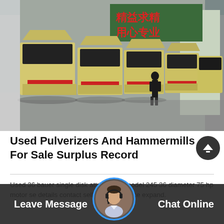[Figure (photo): Row of large yellow industrial impact crushers/hammermills lined up inside a warehouse/factory. A person in dark clothing stands in the background for scale. Red Chinese text on a green sign visible in the background. Concrete floor, metal building structure.]
Used Pulverizers And Hammermills For Sale Surplus Record
Used 36 bauer single disk attrition mill model 245 36 diameter 75 hp motor se details contact seller request price expand.